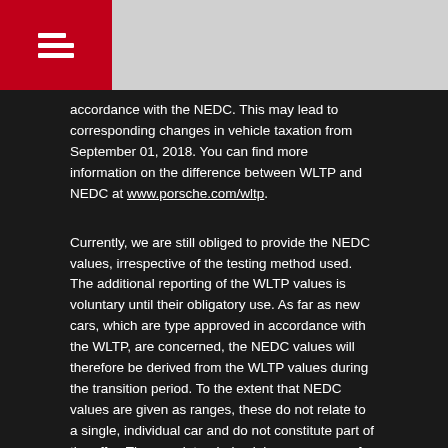accordance with the NEDC. This may lead to corresponding changes in vehicle taxation from September 01, 2018. You can find more information on the difference between WLTP and NEDC at www.porsche.com/wltp.
Currently, we are still obliged to provide the NEDC values, irrespective of the testing method used. The additional reporting of the WLTP values is voluntary until their obligatory use. As far as new cars, which are type approved in accordance with the WLTP, are concerned, the NEDC values will therefore be derived from the WLTP values during the transition period. To the extent that NEDC values are given as ranges, these do not relate to a single, individual car and do not constitute part of the offer. They are intended solely as a means of